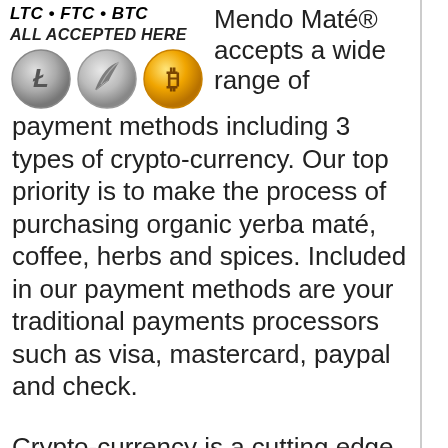[Figure (infographic): Three cryptocurrency coin icons (Litecoin, Feathercoin, Bitcoin) with bold italic text 'LTC • FTC • BTC' and 'ALL ACCEPTED HERE' above them]
Mendo Maté® accepts a wide range of payment methods including 3 types of crypto-currency. Our top priority is to make the process of purchasing organic yerba maté, coffee, herbs and spices. Included in our payment methods are your traditional payments processors such as visa, mastercard, paypal and check.
Crypto-currency is a cutting edge experimental proof of work that was created in Satoshi